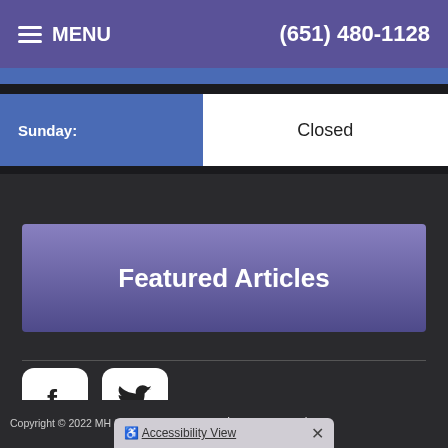MENU | (651) 480-1128
| Day | Hours |
| --- | --- |
| Sunday: | Closed |
Featured Articles
[Figure (logo): Facebook and Twitter social media icons]
Copyright © 2022 MH Sub I, LLC dba iMatrix. | Admin Log In | Site Map | Accessibility View